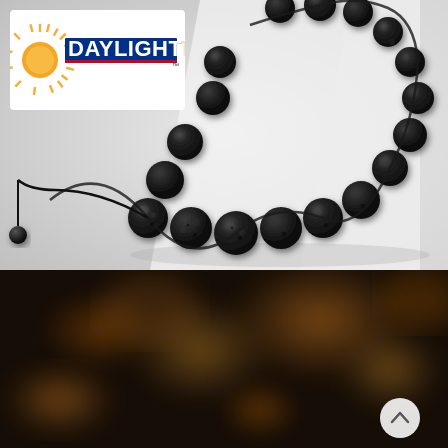[Figure (photo): Close-up photograph of a black lava stone bead bracelet with adjustable cord on a white background. The bracelet features multiple dark volcanic rock beads strung together.]
[Figure (logo): Daylight Transport company logo — sun icon on left with orange rays, company name DAYLIGHT in bold blue and yellow letters, TRANSPORT in smaller text below, a red horizontal stripe.]
[Figure (photo): Dark blurred background image with warm amber/golden bokeh lights, possibly a bar or restaurant interior. A white circular scroll-up button with a chevron arrow is visible in the bottom right corner.]